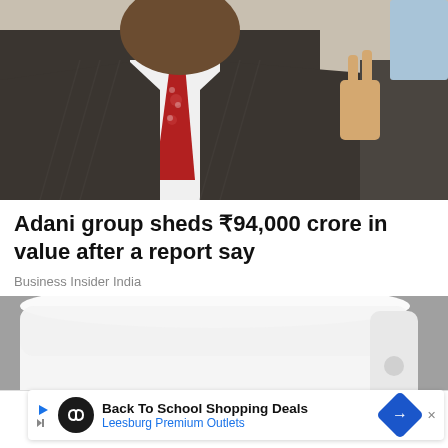[Figure (photo): Photo of a man in a dark suit and red tie making a hand gesture]
Adani group sheds ₹94,000 crore in value after a report say
Business Insider India
[Figure (photo): Photo of a white air conditioning unit]
Back To School Shopping Deals
Leesburg Premium Outlets
Home  Notifications  Newsletters  Next  Share